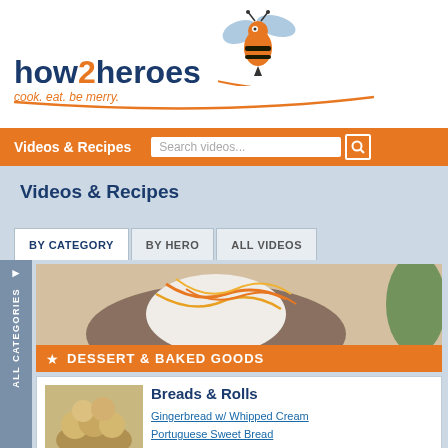[Figure (logo): how2heroes logo with bee illustration and tagline 'cook. eat. be merry.']
Videos & Recipes | Search videos...
Videos & Recipes
BY CATEGORY
BY HERO
ALL VIDEOS
[Figure (photo): Featured Dessert & Baked Goods category image showing a dessert with orange zest and whipped cream]
DESSERT & BAKED GOODS
Breads & Rolls
[Figure (photo): Thumbnail image of breads and rolls]
Gingerbread w/ Whipped Cream
Portuguese Sweet Bread
Rosemary Cheddar Biscuits
Southern Biscuits
Sticky Buns
MORE
Brownies & Bars